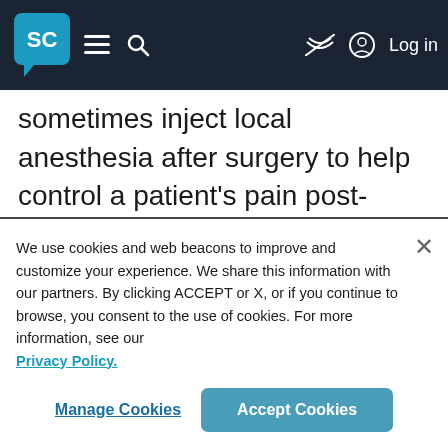SC [logo] | menu | search | hide | Log in
sometimes inject local anesthesia after surgery to help control a patient's pain post-surgery.
We use cookies and web beacons to improve and customize your experience. We share this information with our partners. By clicking ACCEPT or X, or if you continue to browse, you consent to the use of cookies. For more information, see our Privacy Policy.
Manage Cookies | Accept Cookies